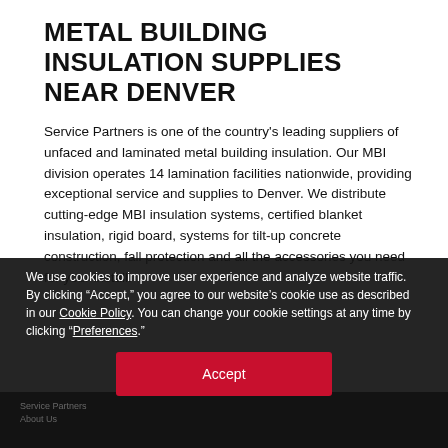METAL BUILDING INSULATION SUPPLIES NEAR DENVER
Service Partners is one of the country's leading suppliers of unfaced and laminated metal building insulation. Our MBI division operates 14 lamination facilities nationwide, providing exceptional service and supplies to Denver. We distribute cutting-edge MBI insulation systems, certified blanket insulation, rigid board, systems for tilt-up concrete construction, fall protection and all the accessories you need for your install.
We use cookies to improve user experience and analyze website traffic. By clicking “Accept,” you agree to our website’s cookie use as described in our Cookie Policy. You can change your cookie settings at any time by clicking “Preferences.”
Accept